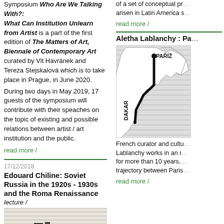Symposium Who Are We Talking With?: What Can Institution Unlearn from Artist is a part of the first edition of The Matters of Art, Biennale of Contemporary Art curated by Vit Havránek and Tereza Stejskalová which is to take place in Prague, in June 2020.
During two days in May 2019, 17 guests of the symposium will contribute with their speaches on the topic of existing and possible relations between artist / art institution and the public.
read more /
17/12/2018
Edouard Chiline: Soviet Russia in the 1920s - 1930s and the Roma Renaissance
lecture /
[Figure (illustration): Black and white woodcut-style illustration showing figures in a room]
of a set of conceptual pr... arisen in Latin America s...
read more /
Aletha Lablanchy : Pa...
[Figure (map): Black and white map showing route between Paris (PARIZ) and Dakar with a bold black line]
French curator and cultu... Lablanchy works in an i... for more than 10 years, ... trajectory between Paris...
read more /